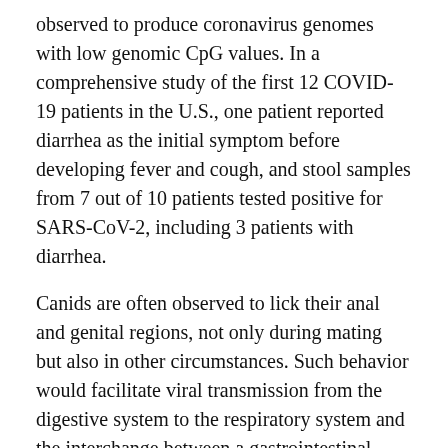observed to produce coronavirus genomes with low genomic CpG values. In a comprehensive study of the first 12 COVID-19 patients in the U.S., one patient reported diarrhea as the initial symptom before developing fever and cough, and stool samples from 7 out of 10 patients tested positive for SARS-CoV-2, including 3 patients with diarrhea.
Canids are often observed to lick their anal and genital regions, not only during mating but also in other circumstances. Such behavior would facilitate viral transmission from the digestive system to the respiratory system and the interchange between a gastrointestinal pathogen and a respiratory tract and lung pathogen.
“In this context, it is significant that the bat coronavirus (BatCoV RaTG13), as documented in